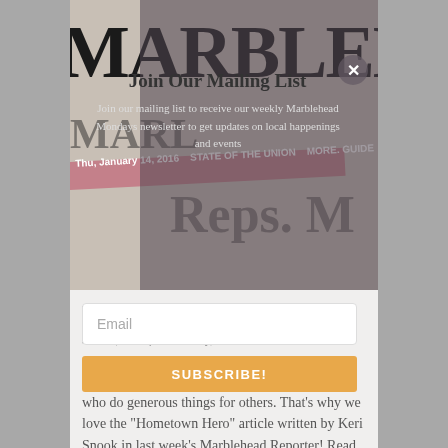[Figure (photo): Newspaper with 'MARBLEHEAD' headline visible, partially obscured by a modal dialog overlay for joining mailing list]
Join Our Mailing List
Join our mailing list to receive our weekly Marblehead Mondays newsletter to get updates on local happenings and events
Email
SUBSCRIBE!
Hometown Hero
Jun 10, 2019 | Community, News
This amazing town of ours has so many people who do generous things for others. That's why we love the "Hometown Hero" article written by Keri Snook in last week's Marblehead Reporter! Read about those "Best